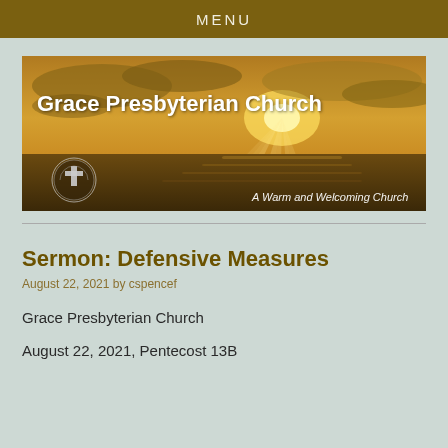MENU
[Figure (illustration): Grace Presbyterian Church banner image showing ocean sunset with golden light rays through clouds. Text reads 'Grace Presbyterian Church' in bold white on the left, a church logo/seal in the lower left, and 'A Warm and Welcoming Church' in italic on the lower right.]
Sermon: Defensive Measures
August 22, 2021 by cspencef
Grace Presbyterian Church
August 22, 2021, Pentecost 13B